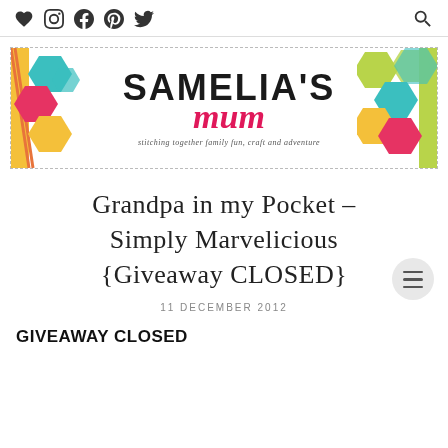♥ Instagram Facebook Pinterest Twitter [search]
[Figure (logo): Samelia's Mum blog banner with colorful hexagon quilt pattern decorations on left and right sides. Text reads SAMELIA'S mum with tagline: stitching together family fun, craft and adventure]
Grandpa in my Pocket – Simply Marvelicious {Giveaway CLOSED}
11 DECEMBER 2012
GIVEAWAY CLOSED